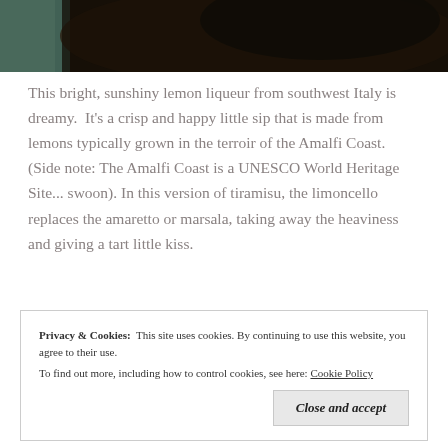[Figure (photo): Top portion of a photo showing a dark object (likely a bottle or glass) with a teal/green background visible on the left side. The image is cropped showing only the upper portion.]
This bright, sunshiny lemon liqueur from southwest Italy is dreamy.  It's a crisp and happy little sip that is made from lemons typically grown in the terroir of the Amalfi Coast. (Side note: The Amalfi Coast is a UNESCO World Heritage Site... swoon). In this version of tiramisu, the limoncello replaces the amaretto or marsala, taking away the heaviness and giving a tart little kiss.
Privacy & Cookies:  This site uses cookies. By continuing to use this website, you agree to their use.
To find out more, including how to control cookies, see here: Cookie Policy
Close and accept